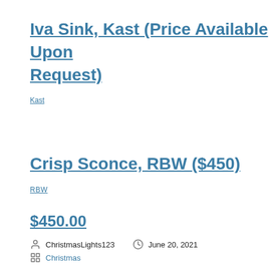Iva Sink, Kast (Price Available Upon Request)
Kast
Crisp Sconce, RBW ($450)
RBW
$450.00
Posted by ChristmasLights123  June 20, 2021  Christmas